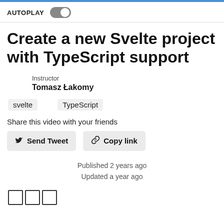AUTOPLAY [toggle]
Create a new Svelte project with TypeScript support
Instructor
Tomasz Łakomy
svelte   TypeScript
Share this video with your friends
Send Tweet   Copy link
Published 2 years ago
Updated a year ago
[Figure (other): Three empty squares/boxes at the bottom left]